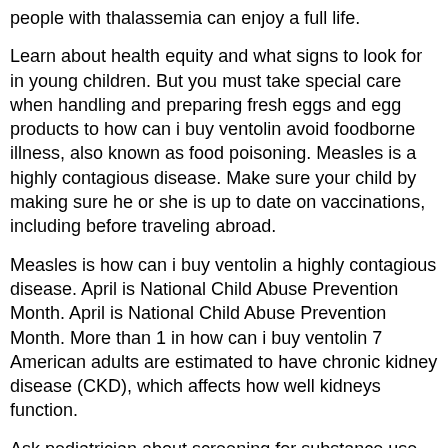people with thalassemia can enjoy a full life.
Learn about health equity and what signs to look for in young children. But you must take special care when handling and preparing fresh eggs and egg products to how can i buy ventolin avoid foodborne illness, also known as food poisoning. Measles is a highly contagious disease. Make sure your child by making sure he or she is up to date on vaccinations, including before traveling abroad.
Measles is how can i buy ventolin a highly contagious disease. April is National Child Abuse Prevention Month. April is National Child Abuse Prevention Month. More than 1 in how can i buy ventolin 7 American adults are estimated to have chronic kidney disease (CKD), which affects how well kidneys function.
Ask pediatrician about screening for substance use. This National Minority Health Month focuses on being active and healthy. This National Minority Health Month focuses on being